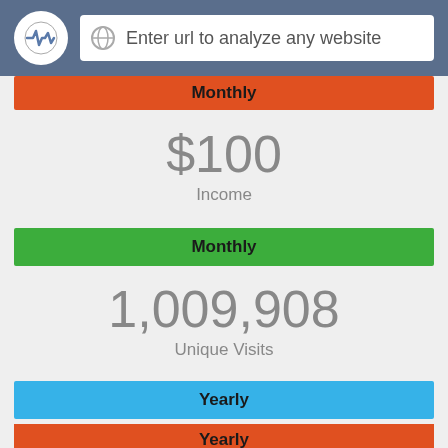Enter url to analyze any website
Monthly
$100
Income
Monthly
1,009,908
Unique Visits
Yearly
1,884,960
Pages Views
Yearly